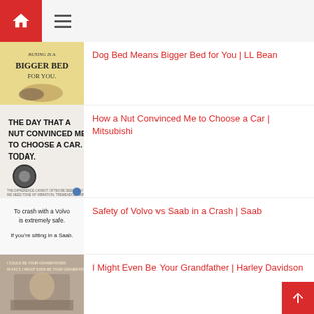Home | Menu
Dog Bed Means Bigger Bed for You | LL Bean
How a Nut Convinced Me to Choose a Car | Mitsubishi
Safety of Volvo vs Saab in a Crash | Saab
I Might Even Be Your Grandfather | Harley Davidson